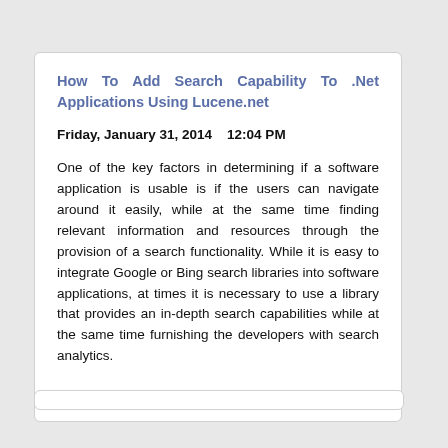How To Add Search Capability To .Net Applications Using Lucene.net
Friday, January 31, 2014    12:04 PM
One of the key factors in determining if a software application is usable is if the users can navigate around it easily, while at the same time finding relevant information and resources through the provision of a search functionality. While it is easy to integrate Google or Bing search libraries into software applications, at times it is necessary to use a library that provides an in-depth search capabilities while at the same time furnishing the developers with search analytics.
>> Read more